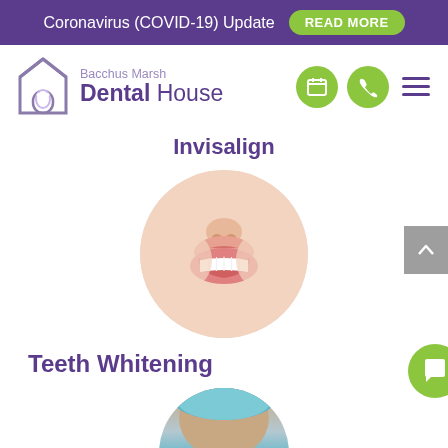Coronavirus (COVID-19) Update  READ MORE
[Figure (logo): Bacchus Marsh Dental House logo with house/tooth icon and green circular nav icons]
Invisalign
[Figure (photo): Circular cropped photo of a smiling mouth showing white teeth]
Teeth Whitening
[Figure (photo): Partial circular photo at bottom showing a person with dental/orthodontic appliance]